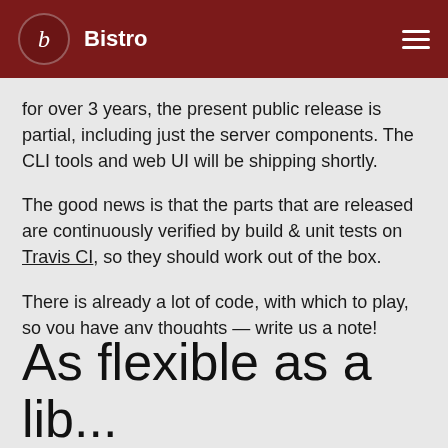Bistro
for over 3 years, the present public release is partial, including just the server components. The CLI tools and web UI will be shipping shortly.
The good news is that the parts that are released are continuously verified by build & unit tests on Travis CI, so they should work out of the box.
There is already a lot of code, with which to play, so you have any thoughts — write us a note! Open-source projects thrive and grow on encouragement and feedback.
As flexible as a lib...